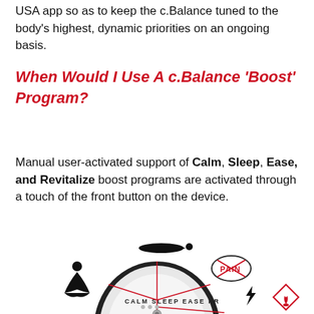USA app so as to keep the c.Balance tuned to the body's highest, dynamic priorities on an ongoing basis.
When Would I Use A c.Balance 'Boost' Program?
Manual user-activated support of Calm, Sleep, Ease, and Revitalize boost programs are activated through a touch of the front button on the device.
[Figure (illustration): Illustration of a c.Balance device dial showing CALM, SLEEP, EASE, PRO labels around the dial, with surrounding icons: a meditating figure (Calm), a reclining figure (Sleep), a no-pain symbol with PAIN crossed out in a circle (Ease), a lightning bolt and flame hazard symbol (Revitalize), and a foot/sole icon.]